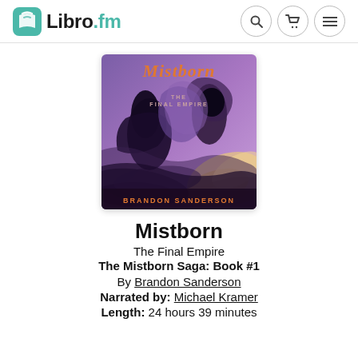Libro.fm
[Figure (illustration): Audiobook cover art for Mistborn: The Final Empire by Brandon Sanderson. Features dramatic fantasy artwork with characters in motion against a swirling purple/blue background. Title 'Mistborn' in orange at top, subtitle 'The Final Empire' below, author name 'Brandon Sanderson' in orange at the bottom.]
Mistborn
The Final Empire
The Mistborn Saga: Book #1
By Brandon Sanderson
Narrated by: Michael Kramer
Length: 24 hours 39 minutes